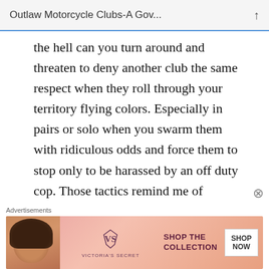Outlaw Motorcycle Clubs-A Gov...
the hell can you turn around and threaten to deny another club the same respect when they roll through your territory flying colors. Especially in pairs or solo when you swarm them with ridiculous odds and force them to stop only to be harassed by an off duty cop. Those tactics remind me of another chicken shit club. The Iron Horseman. Like I've said, I've read your laws and regulations. There's no
Advertisements
[Figure (other): Victoria's Secret advertisement banner with model, VS logo, 'SHOP THE COLLECTION' text, and 'SHOP NOW' button]